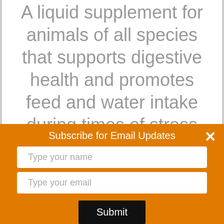A liquid supplement for animals of all species that supports digestive health and promotes feed and water intake during times of stress and recovery. Can be
Subscribe for Email Updates
Type your name
Type your email
Submit